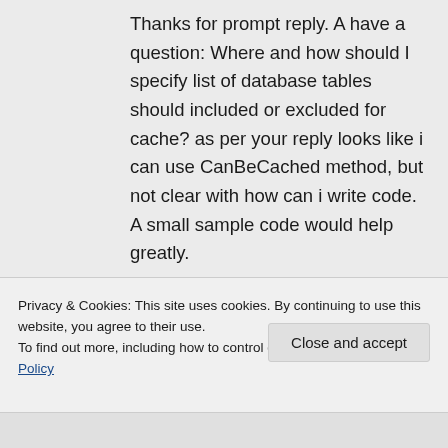Thanks for prompt reply. A have a question: Where and how should I specify list of database tables should included or excluded for cache? as per your reply looks like i can use CanBeCached method, but not clear with how can i write code. A small sample code would help greatly.
Thanks,
Privacy & Cookies: This site uses cookies. By continuing to use this website, you agree to their use.
To find out more, including how to control cookies, see here: Cookie Policy